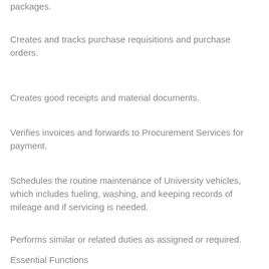packages.
Creates and tracks purchase requisitions and purchase orders.
Creates good receipts and material documents.
Verifies invoices and forwards to Procurement Services for payment.
Schedules the routine maintenance of University vehicles, which includes fueling, washing, and keeping records of mileage and if servicing is needed.
Performs similar or related duties as assigned or required.
Essential Functions